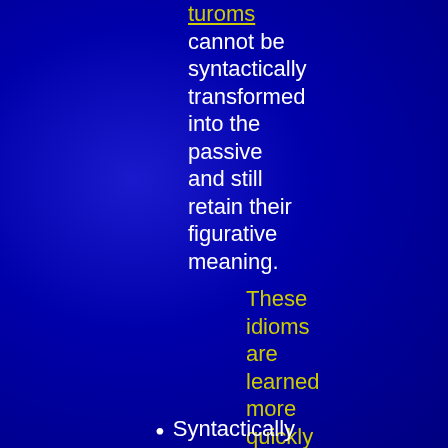turoms cannot be syntactically transformed into the passive and still retain their figurative meaning.
These idioms are learned more quickly because heard more frequently in only one syntactic form.
Syntactically